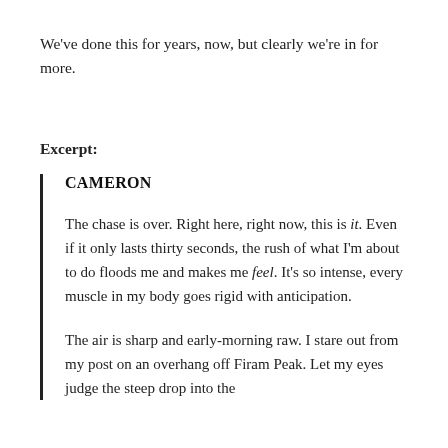We've done this for years, now, but clearly we're in for more.
Excerpt:
CAMERON
The chase is over. Right here, right now, this is it. Even if it only lasts thirty seconds, the rush of what I'm about to do floods me and makes me feel. It's so intense, every muscle in my body goes rigid with anticipation.
The air is sharp and early-morning raw. I stare out from my post on an overhang off Firam Peak. Let my eyes judge the steep drop into the